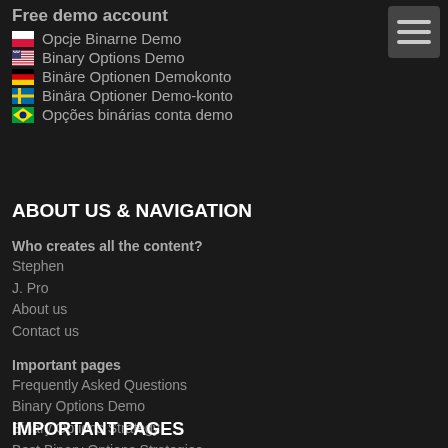Free demo account
Opcje Binarne Demo
Binary Options Demo
Binäre Optionen Demokonto
Binära Optioner Demo-konto
Opções binárias conta demo
ABOUT US & NAVIGATION
Who creates all the content?
Stephen
J. Pro
About us
Contact us
Important pages
Frequently Asked Questions
Binary Options Demo
Binary Options Strategy
Best Binary Options Strategies
Brokers
EmpireOption
ExpertOption
Olymp Trade
IQ Option Binomo
IMPORTANT PAGES